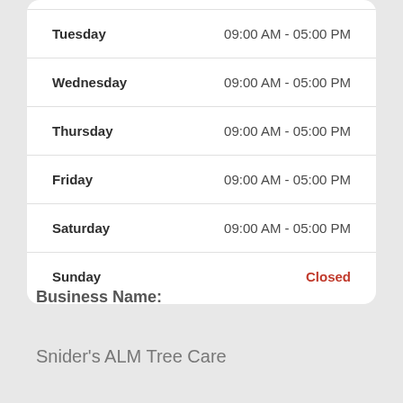| Day | Hours |
| --- | --- |
| Tuesday | 09:00 AM - 05:00 PM |
| Wednesday | 09:00 AM - 05:00 PM |
| Thursday | 09:00 AM - 05:00 PM |
| Friday | 09:00 AM - 05:00 PM |
| Saturday | 09:00 AM - 05:00 PM |
| Sunday | Closed |
Business Name:
Snider's ALM Tree Care